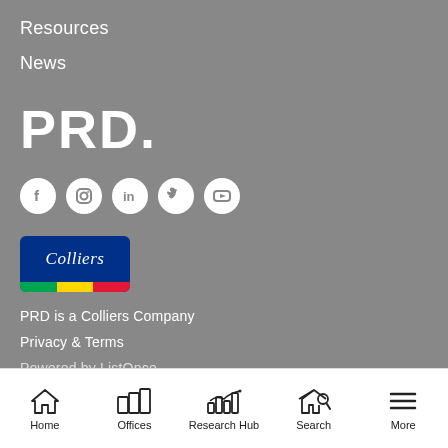Resources
News
[Figure (logo): PRD. logo in white large text]
[Figure (infographic): Social media icons: Facebook, Instagram, LinkedIn, Twitter, YouTube — white circles on grey]
[Figure (logo): Colliers logo badge with blue background, italic white text, and green/yellow/red stripe]
PRD is a Colliers Company
Privacy & Terms
Powered by ListOnce
Home  Offices  Research Hub  Search  More